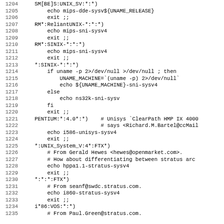Source code listing lines 1204-1235, shell script with case patterns for system detection